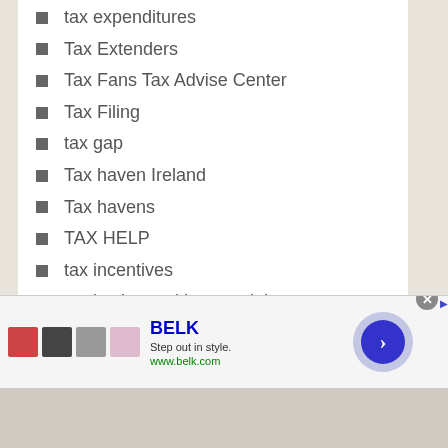tax expenditures
Tax Extenders
Tax Fans Tax Advise Center
Tax Filing
tax gap
Tax haven Ireland
Tax havens
TAX HELP
tax incentives
tax justice and human rights
tax law
tax maps
TAX PREP
[Figure (other): Advertisement banner for BELK with tagline 'Step out in style.' and URL www.belk.com, with thumbnail images and a navigation arrow button]